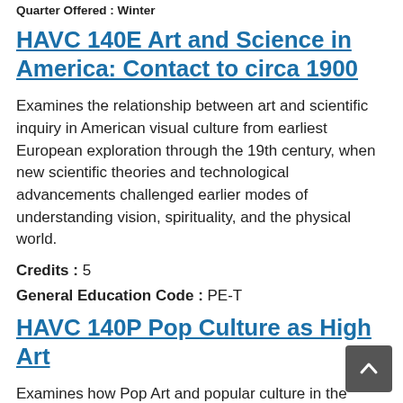Quarter Offered : Winter
HAVC 140E Art and Science in America: Contact to circa 1900
Examines the relationship between art and scientific inquiry in American visual culture from earliest European exploration through the 19th century, when new scientific theories and technological advancements challenged earlier modes of understanding vision, spirituality, and the physical world.
Credits :  5
General Education Code :  PE-T
HAVC 140P Pop Culture as High Art
Examines how Pop Art and popular culture in the Untied Stateswere (re)formulated into public icons that challenged the visual and ideological associations